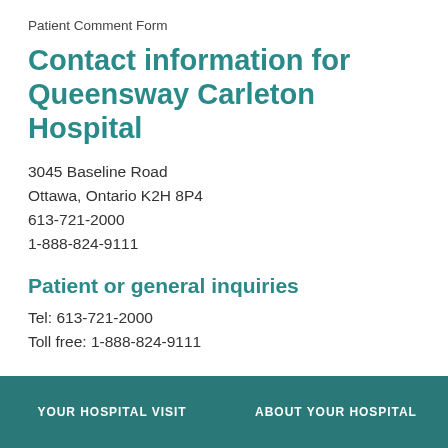Patient Comment Form
Contact information for Queensway Carleton Hospital
3045 Baseline Road
Ottawa, Ontario K2H 8P4
613-721-2000
1-888-824-9111
Patient or general inquiries
Tel: 613-721-2000
Toll free: 1-888-824-9111
If you know the extension of the person or clinic you are calling, dial the 4-digit extension. If not, stay on the line for a Call Centre Operator.
YOUR HOSPITAL VISIT    ABOUT YOUR HOSPITAL